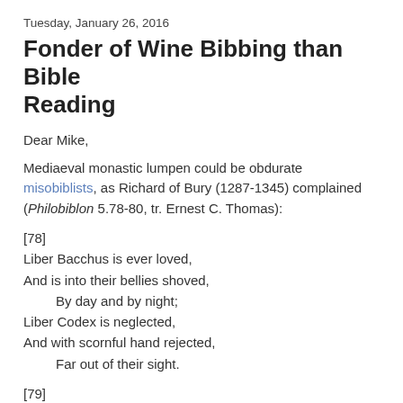Tuesday, January 26, 2016
Fonder of Wine Bibbing than Bible Reading
Dear Mike,
Mediaeval monastic lumpen could be obdurate misobiblists, as Richard of Bury (1287-1345) complained (Philobiblon 5.78-80, tr. Ernest C. Thomas):
[78]
Liber Bacchus is ever loved,
And is into their bellies shoved,
    By day and by night;
Liber Codex is neglected,
And with scornful hand rejected,
    Far out of their sight.
[79]
And as if the simple monastic folk of modern times were desirous, by some faint of force, or philobiblon. But a lone